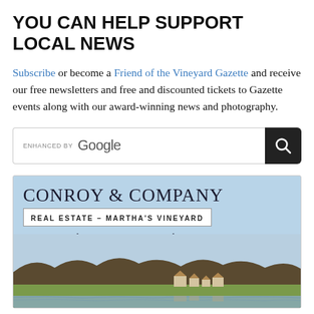YOU CAN HELP SUPPORT LOCAL NEWS
Subscribe or become a Friend of the Vineyard Gazette and receive our free newsletters and free and discounted tickets to Gazette events along with our award-winning news and photography.
[Figure (screenshot): Google search bar with 'ENHANCED BY Google' label and dark search button with magnifying glass icon]
[Figure (photo): Advertisement for Conroy & Company Real Estate - Martha's Vineyard with tagline 'It's not just business, it's personal' over a scenic photo of houses near water with trees and reflection]